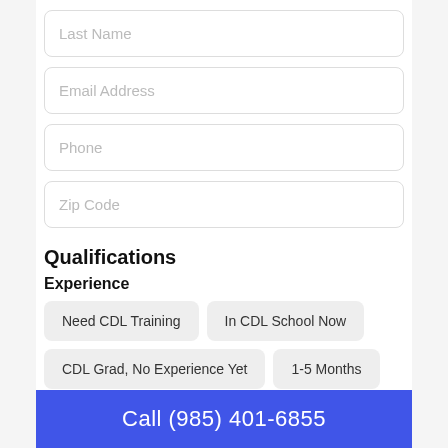Last Name
Email Address
Phone
Zip Code
Qualifications
Experience
Need CDL Training
In CDL School Now
CDL Grad, No Experience Yet
1-5 Months
Call (985) 401-6855